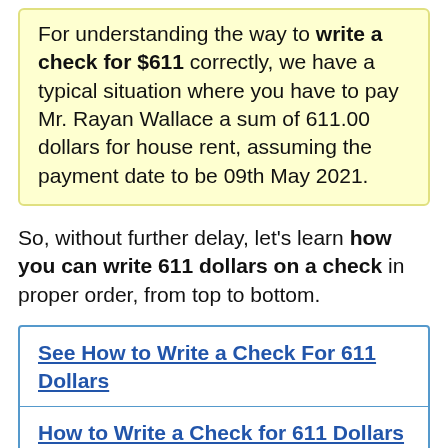For understanding the way to write a check for $611 correctly, we have a typical situation where you have to pay Mr. Rayan Wallace a sum of 611.00 dollars for house rent, assuming the payment date to be 09th May 2021.
So, without further delay, let's learn how you can write 611 dollars on a check in proper order, from top to bottom.
See How to Write a Check For 611 Dollars
How to Write a Check for 611 Dollars with Cents